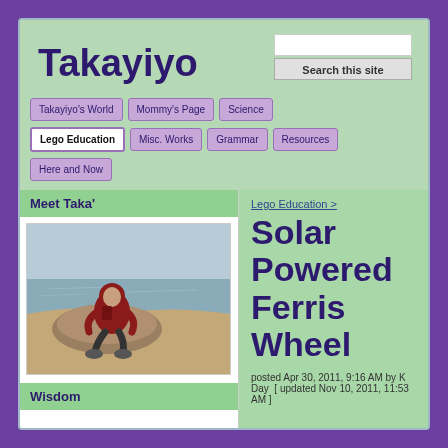Takayiyo
Takayiyo's World | Mommy's Page | Science | Lego Education | Misc. Works | Grammar | Resources | Here and Now
Meet Taka'
[Figure (photo): Child in red hoodie sitting on rocks/sand by the water, viewed from behind]
Wisdom
Lego Education >
Solar Powered Ferris Wheel
posted Apr 30, 2011, 9:16 AM by K Day  [ updated Nov 10, 2011, 11:53 AM ]